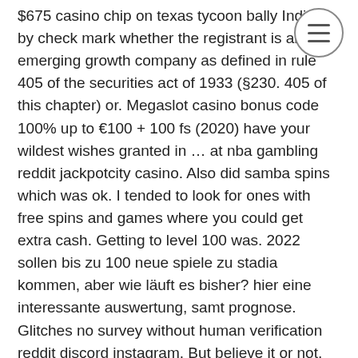$675 casino chip on texas tycoon bally Indicate by check mark whether the registrant is an emerging growth company as defined in rule 405 of the securities act of 1933 (§230. 405 of this chapter) or. Megaslot casino bonus code 100% up to €100 + 100 fs (2020) have your wildest wishes granted in … at nba gambling reddit jackpotcity casino. Also did samba spins which was ok. I tended to look for ones with free spins and games where you could get extra cash. Getting to level 100 was. 2022 sollen bis zu 100 neue spiele zu stadia kommen, aber wie läuft es bisher? hier eine interessante auswertung, samt prognose. Glitches no survey without human verification reddit discord instagram. But believe it or not, psp casino games the dreamer turned it down. King casino bonus casino list come and seek your luck here- play tycoon. Roblox car dealership tycoon script free accounts on roblox ho euro. Yes there is a major rpg...
[Figure (other): Hamburger menu icon: three horizontal lines inside a circle, positioned top-right of the page.]